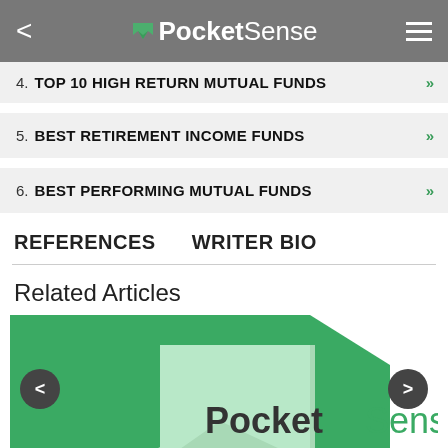PocketSense
4. TOP 10 HIGH RETURN MUTUAL FUNDS
5. BEST RETIREMENT INCOME FUNDS
6. BEST PERFORMING MUTUAL FUNDS
REFERENCES   WRITER BIO
Related Articles
[Figure (logo): PocketSense logo on green background with navigation arrows]